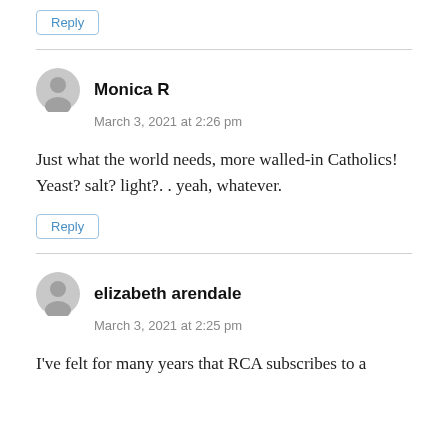Reply
Monica R
March 3, 2021 at 2:26 pm
Just what the world needs, more walled-in Catholics! Yeast? salt? light?. . yeah, whatever.
Reply
elizabeth arendale
March 3, 2021 at 2:25 pm
I've felt for many years that RCA subscribes to a